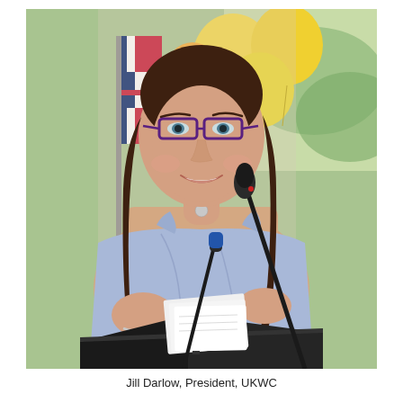[Figure (photo): A woman with long dark hair, wearing glasses and a light blue sleeveless top, stands at a podium with two microphones. She is smiling and holding papers. In the background there is a flag with red, white and blue colors, and yellow balloons. The setting appears to be an outdoor event.]
Jill Darlow, President, UKWC